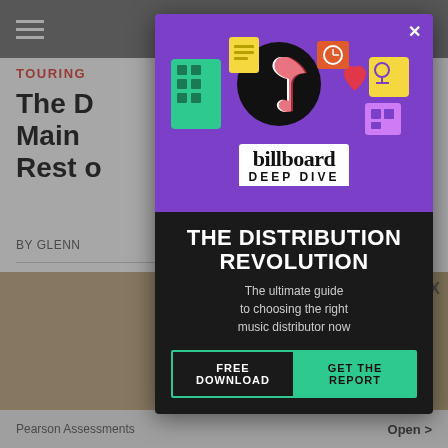SUBSCRIBE
TOURING
The D... s Are Main... the Rest o...
BY GLENN   1 day ago
[Figure (screenshot): Billboard Deep Dive modal advertisement overlay on a music industry article page. Purple top section with TikTok logo illustration and colorful icons. Billboard logo with 'DEEP DIVE' subtitle. Dark bottom section with text 'THE DISTRIBUTION REVOLUTION - The ultimate guide to choosing the right music distributor now'. CTA buttons: FREE DOWNLOAD | GET THE REPORT]
THE DISTRIBUTION REVOLUTION
The ultimate guide to choosing the right music distributor now
FREE DOWNLOAD   GET THE REPORT
Pearson Assessments   Open >